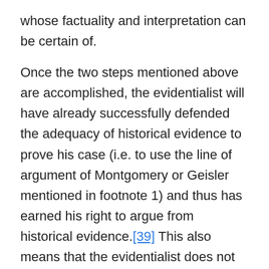whose factuality and interpretation can be certain of.
Once the two steps mentioned above are accomplished, the evidentialist will have already successfully defended the adequacy of historical evidence to prove his case (i.e. to use the line of argument of Montgomery or Geisler mentioned in footnote 1) and thus has earned his right to argue from historical evidence.[39] This also means that the evidentialist does not have to be concerned about answering all the questions pertaining to the dispute between the positivist and the relativist over the objectivity of history. Albeit their importance, especially in the fields of historiography and philosophy of history[40], many